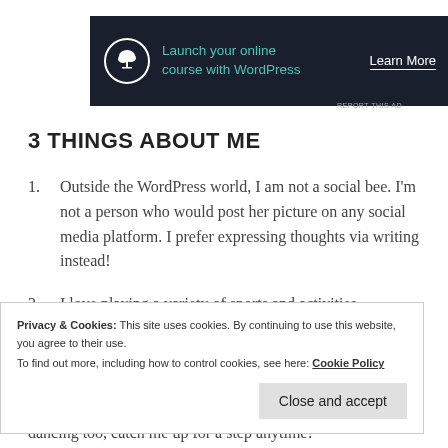[Figure (screenshot): Advertisement banner with dark navy background showing a bonsai tree icon, teal text 'Launch your online course with WordPress', and white 'Learn More' link]
REPORT THIS AD
3 THINGS ABOUT ME
Outside the WordPress world, I am not a social bee. I'm not a person who would post her picture on any social media platform. I prefer expressing thoughts via writing instead!
I love playing a variety of sports and activities. Badminton and bowling top my
Privacy & Cookies: This site uses cookies. By continuing to use this website, you agree to their use.
To find out more, including how to control cookies, see here: Cookie Policy
Close and accept
dancing too, catch me up for a step anytime!